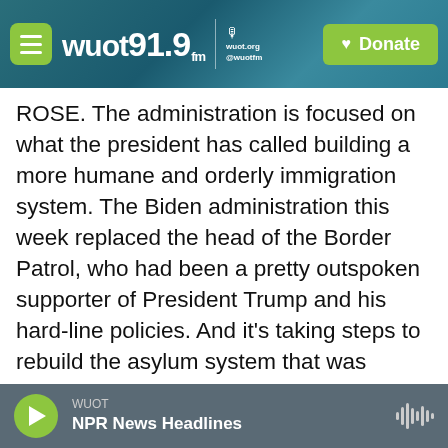WUOT 91.9 FM | wuot.org @wuotfm | Donate
ROSE. The administration is focused on what the president has called building a more humane and orderly immigration system. The Biden administration this week replaced the head of the Border Patrol, who had been a pretty outspoken supporter of President Trump and his hard-line policies. And it's taking steps to rebuild the asylum system that was dramatically curtailed under the Trump administration. In general, I would say the Biden team is trying to build more legal pathways for migrants to reach the U.S., they say, so that those migrants don't feel like they have no choice but to make these dangerous and illegal journeys
WUOT | NPR News Headlines